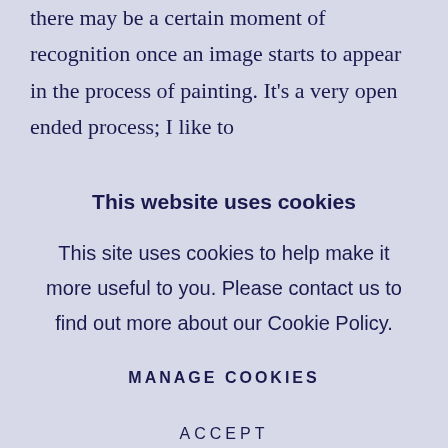there may be a certain moment of recognition once an image starts to appear in the process of painting. It's a very open ended process; I like to
This website uses cookies
This site uses cookies to help make it more useful to you. Please contact us to find out more about our Cookie Policy.
MANAGE COOKIES
ACCEPT